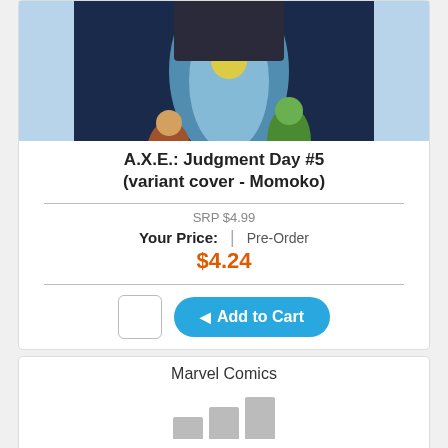[Figure (illustration): Comic book cover illustration for A.X.E.: Judgment Day #5 variant cover by Momoko, showing Marvel characters including Thor kneeling in a garden-like setting with a large blue figure looming above, Marvel logo in bottom right]
A.X.E.: Judgment Day #5 (variant cover - Momoko)
SRP $4.99
Your Price: | Pre-Order $4.24
Add to Cart
Marvel Comics
[Figure (illustration): Placeholder image with gray bar chart bars indicating a comic image is loading]